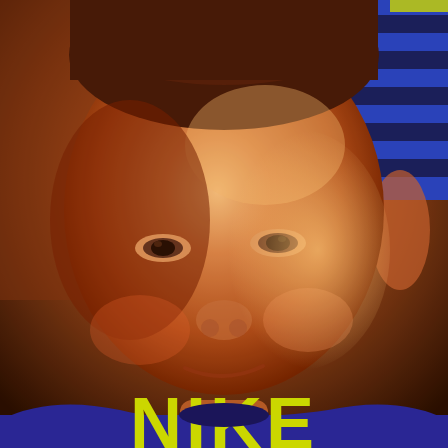[Figure (photo): Close-up photograph of a young toddler boy with brown hair, squinting and smiling slightly in bright sunlight. He is wearing a blue Nike athletic shirt with neon yellow/green 'NIKE' lettering on the chest. In the background to the upper right, another person is visible wearing a blue and black striped shirt. The photo has warm, high-contrast lighting with orange/red tones from sunlight.]